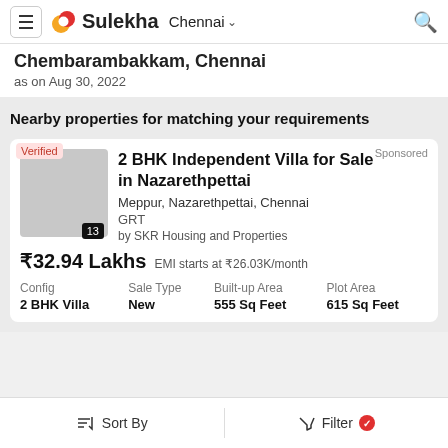Sulekha Chennai
Chembarambakkam, Chennai
as on Aug 30, 2022
Nearby properties for matching your requirements
Sponsored
Verified
13
2 BHK Independent Villa for Sale in Nazarethpettai
Meppur, Nazarethpettai, Chennai
GRT
by SKR Housing and Properties
₹32.94 Lakhs  EMI starts at ₹26.03K/month
| Config | Sale Type | Built-up Area | Plot Area |
| --- | --- | --- | --- |
| 2 BHK Villa | New | 555 Sq Feet | 615 Sq Feet |
Sort By   Filter